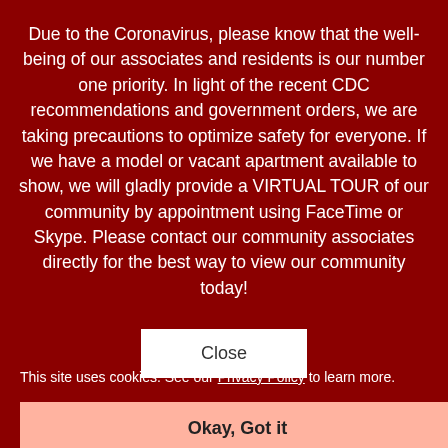Due to the Coronavirus, please know that the well-being of our associates and residents is our number one priority. In light of the recent CDC recommendations and government orders, we are taking precautions to optimize safety for everyone. If we have a model or vacant apartment available to show, we will gladly provide a VIRTUAL TOUR of our community by appointment using FaceTime or Skype. Please contact our community associates directly for the best way to view our community today!
Close
Bon Secours Apartments II
410-566-2702
This site uses cookies. See our Privacy Policy to learn more.
1801 Hollins Street
Baltimore, MD 21223
Okay, Got it
Email Us
410-566-2702
Email